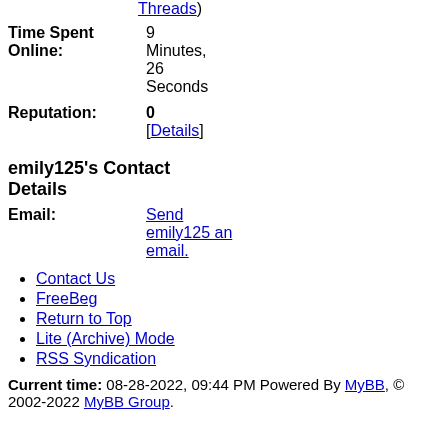Threads)
Time Spent Online: 9 Minutes, 26 Seconds
Reputation: 0 [Details]
emily125's Contact Details
Email: Send emily125 an email.
Contact Us
FreeBeg
Return to Top
Lite (Archive) Mode
RSS Syndication
Current time: 08-28-2022, 09:44 PM Powered By MyBB, © 2002-2022 MyBB Group.